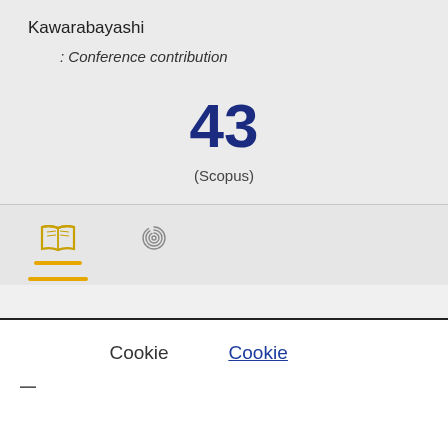Kawarabayashi
: Conference contribution
43
(Scopus)
[Figure (other): Tab icons: open book (active with yellow underline) and fingerprint/spiral icon]
Cookie
Cookie